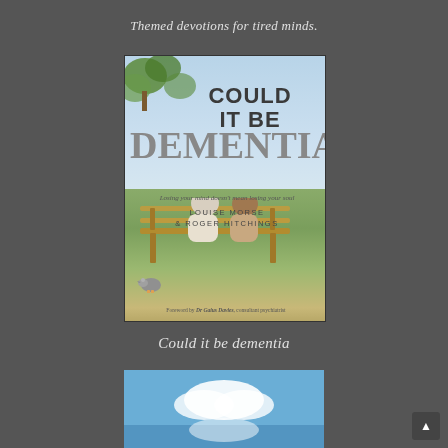Themed devotions for tired minds.
[Figure (photo): Book cover of 'Could It Be Dementia? Losing your mind doesn't mean losing your soul' by Louise Morse & Roger Hitchings. Foreword by Dr Gaius Davies, consultant psychiatrist. Shows two elderly people sitting on a park bench from behind.]
Could it be dementia
[Figure (photo): Partial view of another book cover showing a blue sky with clouds.]